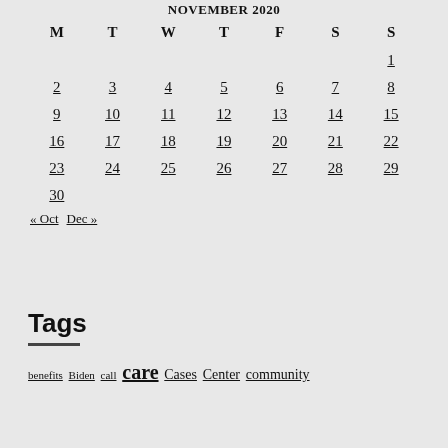NOVEMBER 2020
| M | T | W | T | F | S | S |
| --- | --- | --- | --- | --- | --- | --- |
|  |  |  |  |  |  | 1 |
| 2 | 3 | 4 | 5 | 6 | 7 | 8 |
| 9 | 10 | 11 | 12 | 13 | 14 | 15 |
| 16 | 17 | 18 | 19 | 20 | 21 | 22 |
| 23 | 24 | 25 | 26 | 27 | 28 | 29 |
| 30 |  |  |  |  |  |  |
« Oct   Dec »
Tags
benefits Biden call care Cases Center community